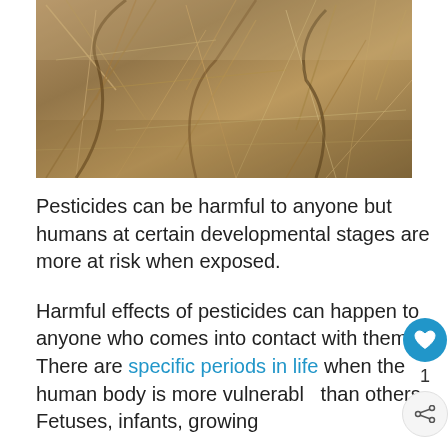[Figure (photo): Close-up photo of dry, brown, tangled plant stems and roots — appears to be dead or dried vegetation with a tan/sandy-brown color palette.]
Pesticides can be harmful to anyone but humans at certain developmental stages are more at risk when exposed.
Harmful effects of pesticides can happen to anyone who comes into contact with them. There are specific periods in life when the human body is more vulnerable than others. Fetuses, infants, growing